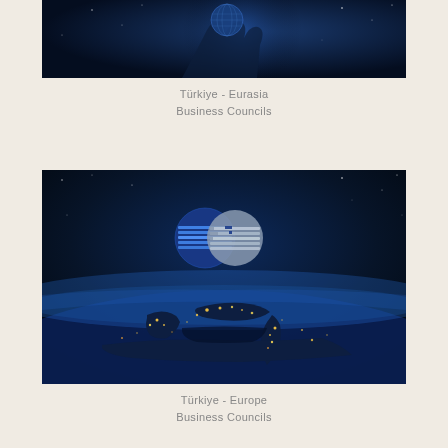[Figure (photo): A dark navy/blue space background image showing a hand holding or touching a glowing globe, cropped — only the lower portion visible.]
Türkiye - Eurasia
Business Councils
[Figure (photo): Aerial/satellite night view of Europe lit up from space, with a prominent 3D logo of two interlocking globe spheres in blue and silver/grey in the upper portion of the image. The Earth's curvature is visible with city lights glowing gold/yellow against dark blue oceans and land.]
Türkiye - Europe
Business Councils